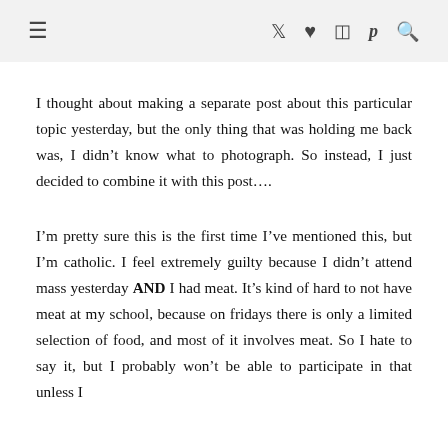≡  𝕏 ♥ 📷 p 🔍
I thought about making a separate post about this particular topic yesterday, but the only thing that was holding me back was, I didn't know what to photograph. So instead, I just decided to combine it with this post….
I'm pretty sure this is the first time I've mentioned this, but I'm catholic. I feel extremely guilty because I didn't attend mass yesterday AND I had meat. It's kind of hard to not have meat at my school, because on fridays there is only a limited selection of food, and most of it involves meat. So I hate to say it, but I probably won't be able to participate in that unless I